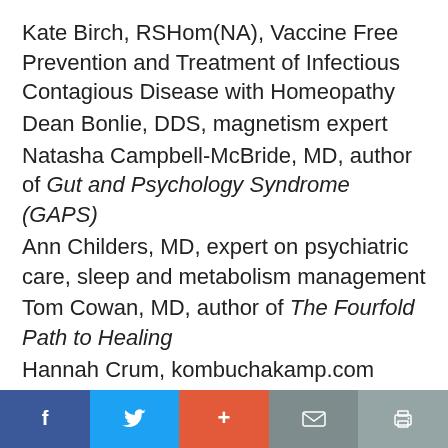Kate Birch, RSHom(NA), Vaccine Free Prevention and Treatment of Infectious Contagious Disease with Homeopathy
Dean Bonlie, DDS, magnetism expert
Natasha Campbell-McBride, MD, author of Gut and Psychology Syndrome (GAPS)
Ann Childers, MD, expert on psychiatric care, sleep and metabolism management
Tom Cowan, MD, author of The Fourfold Path to Healing
Hannah Crum, kombuchakamp.com
Sally Fallon Morell, MA, author of Nourishing Traditions
Ben Greenfield, fitness expert
Social share toolbar: Facebook, Twitter, Plus, Mail, Print